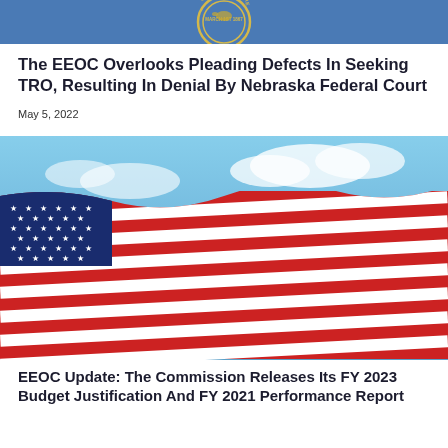[Figure (illustration): Nebraska state seal on a blue background, partial view showing the circular seal with text MARCH 1ST 1867]
The EEOC Overlooks Pleading Defects In Seeking TRO, Resulting In Denial By Nebraska Federal Court
May 5, 2022
[Figure (photo): American flag waving against a blue sky with white clouds, stars and red and white stripes visible]
EEOC Update: The Commission Releases Its FY 2023 Budget Justification And FY 2021 Performance Report